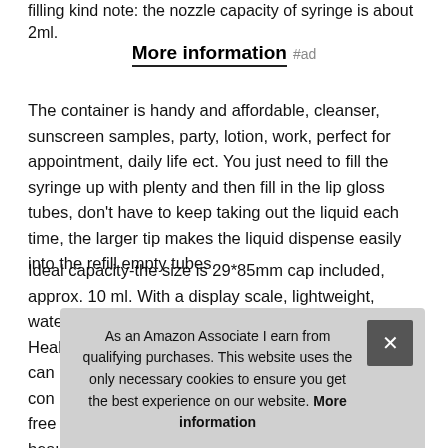filling kind note: the nozzle capacity of syringe is about 2ml.
More information #ad
The container is handy and affordable, cleanser, sunscreen samples, party, lotion, work, perfect for appointment, daily life ect. You just need to fill the syringe up with plenty and then fill in the lip gloss tubes, don't have to keep taking out the liquid each time, the larger tip makes the liquid dispense easily into the refill empty tubes.
Ideal capacity-the size is 29*85mm cap included, approx. 10 ml. With a display scale, lightweight, waterproof, the dose can be easily estimated. Healthy material-clear lip gloss tubes are mac... can... con... free... beau...
As an Amazon Associate I earn from qualifying purchases. This website uses the only necessary cookies to ensure you get the best experience on our website. More information